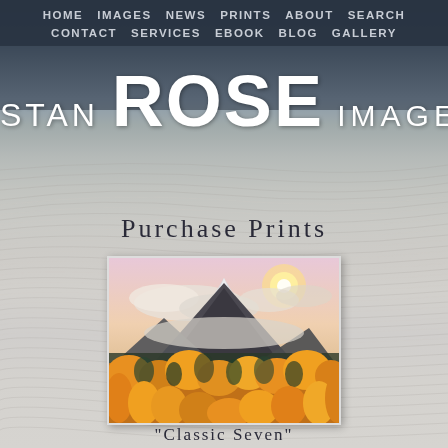HOME  IMAGES  NEWS  PRINTS  ABOUT  SEARCH  CONTACT  SERVICES  EBOOK  BLOG  GALLERY
STAN ROSE IMAGES
Purchase Prints
[Figure (photo): Mountain landscape with autumn golden aspen trees in foreground, snow-capped peaks partially obscured by clouds, warm sunset light]
"Classic Seven"